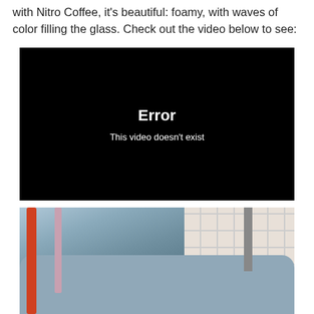with Nitro Coffee, it's beautiful: foamy, with waves of color filling the glass. Check out the video below to see:
[Figure (screenshot): Black video player showing error message: 'Error' in bold white text and 'This video doesn't exist' below it.]
[Figure (photo): Partial photo of what appears to be a sink or coffee equipment with red pipe/bar on the left, tiled wall background on the right, and gray metallic container visible.]